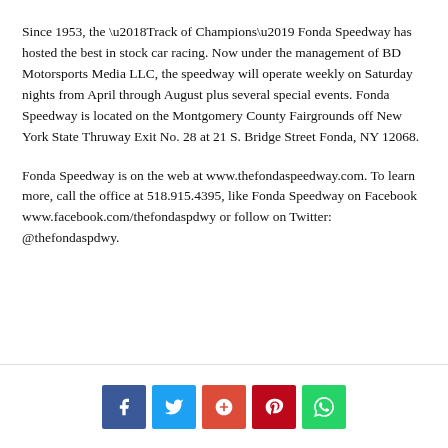Since 1953, the ‘Track of Champions’ Fonda Speedway has hosted the best in stock car racing. Now under the management of BD Motorsports Media LLC, the speedway will operate weekly on Saturday nights from April through August plus several special events. Fonda Speedway is located on the Montgomery County Fairgrounds off New York State Thruway Exit No. 28 at 21 S. Bridge Street Fonda, NY 12068.
Fonda Speedway is on the web at www.thefondaspeedway.com. To learn more, call the office at 518.915.4395, like Fonda Speedway on Facebook www.facebook.com/thefondaspdwy or follow on Twitter: @thefondaspdwy.
[Figure (other): Social media share buttons: Facebook, Twitter, Google+, Pinterest, WhatsApp]